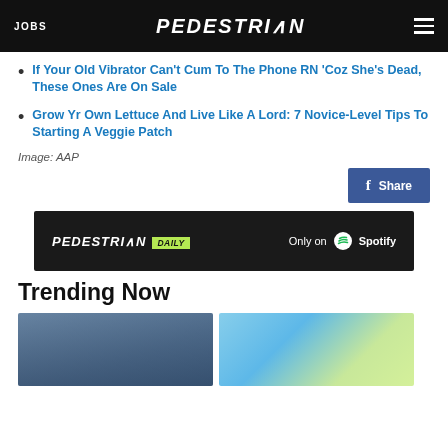JOBS | PEDESTRIAN | [menu]
If Your Old Vibrator Can't Cum To The Phone RN 'Coz She's Dead, These Ones Are On Sale
Grow Yr Own Lettuce And Live Like A Lord: 7 Novice-Level Tips To Starting A Veggie Patch
Image: AAP
[Figure (other): Facebook Share button]
[Figure (other): Pedestrian Daily - Only on Spotify advertisement banner]
Trending Now
[Figure (photo): Two trending article thumbnail images side by side]